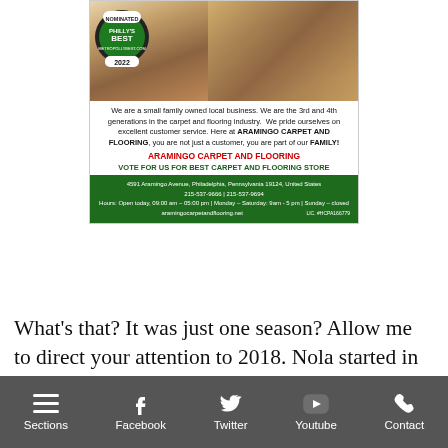[Figure (photo): Advertisement for Aramingo Carpet and Flooring showing a kitchen/living area with hardwood flooring, a 'Philly's Best 2022 Nominated' badge, business description text, contact info, and a green footer bar.]
What's that? It was just one season? Allow me to direct your attention to 2018. Nola started in 33 games during the 2018 season, pitching for a 2.37 ERA with 224 strikeouts in a career-high 212.1 IP. He was voted an All-Star and ended third in the NL
Sections  Facebook  Twitter  Youtube  Contact